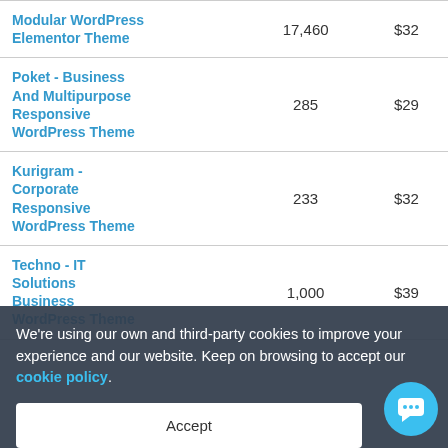| Name | Sales | Price |
| --- | --- | --- |
| Modular WordPress Elementor Theme | 17,460 | $32 |
| Poket - Business And Multipurpose Responsive WordPress Theme | 285 | $29 |
| Kurigram - Corporate Responsive WordPress Theme | 233 | $32 |
| Techno - IT Solutions Business WordPress Theme | 1,000 | $39 |
We're using our own and third-party cookies to improve your experience and our website. Keep on browsing to accept our cookie policy.